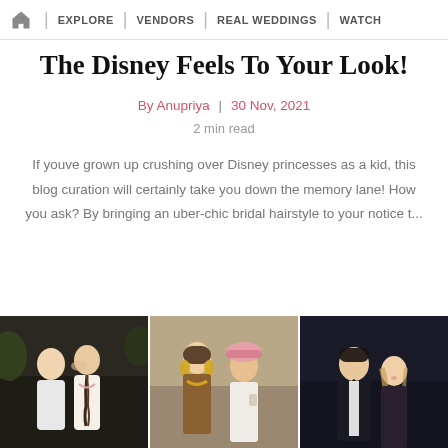EXPLORE | VENDORS | REAL WEDDINGS | WATCH
The Disney Feels To Your Look!
By Anupriya | 30 Nov, 2021
2 min read
If youve grown up crushing over Disney princesses as a kid, this blog curation will certainly take you down the memory lane! How you ask? By bringing an uber-chic bridal hairstyle to your notice t...
[Figure (photo): Three wedding couple photos side by side: left photo shows couple embracing outdoors with bride showing braided hair, center shows bride with jewelry and groom in pink turban, right shows couple in formal evening wear.]